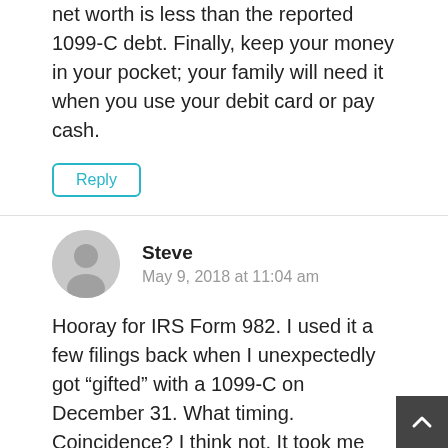net worth is less than the reported 1099-C debt. Finally, keep your money in your pocket; your family will need it when you use your debit card or pay cash.
Reply
Steve
May 9, 2018 at 11:04 am
Hooray for IRS Form 982. I used it a few filings back when I unexpectedly got “gifted” with a 1099-C on December 31. What timing. Coincidence? I think not. It took me hours of research to find this form but my mantra was: Rich people do not pay these penalties, therefore, there must be a form. That was also the first and only year I hired a tax professional to do my taxes. He looked at me and asked